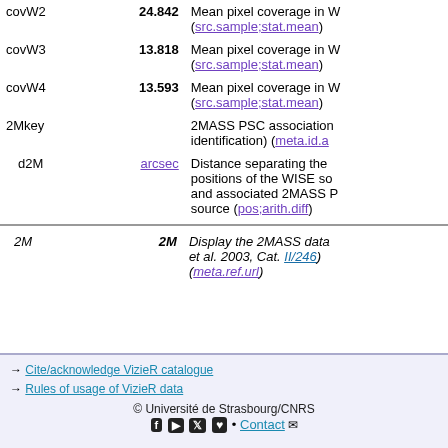| Name | Unit | Description |
| --- | --- | --- |
| covW2 | 24.842 | Mean pixel coverage in W (src.sample;stat.mean) |
| covW3 | 13.818 | Mean pixel coverage in W (src.sample;stat.mean) |
| covW4 | 13.593 | Mean pixel coverage in W (src.sample;stat.mean) |
| 2Mkey |  | 2MASS PSC association identification) (meta.id.a |
| d2M | arcsec | Distance separating the positions of the WISE so and associated 2MASS P source (pos;arith.diff) |
| Name | Unit | Description |
| --- | --- | --- |
| 2M | 2M | Display the 2MASS data et al. 2003, Cat. II/246) (meta.ref.url) |
→ Cite/acknowledge VizieR catalogue
→ Rules of usage of VizieR data
© Université de Strasbourg/CNRS  Contact